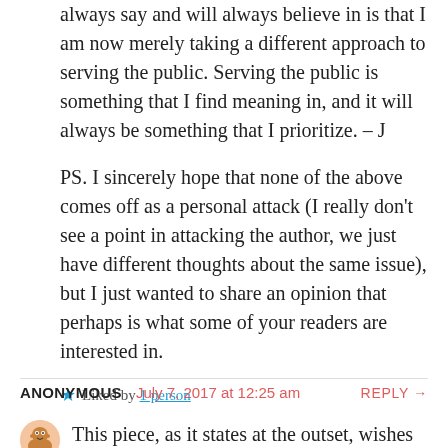always say and will always believe in is that I am now merely taking a different approach to serving the public. Serving the public is something that I find meaning in, and it will always be something that I prioritize. – J
PS. I sincerely hope that none of the above comes off as a personal attack (I really don't see a point in attacking the author, we just have different thoughts about the same issue), but I just wanted to share an opinion that perhaps is what some of your readers are interested in.
★ Liked by 1 person
ANONYMOUS  July 7, 2017 at 12:25 am  REPLY →
This piece, as it states at the outset, wishes